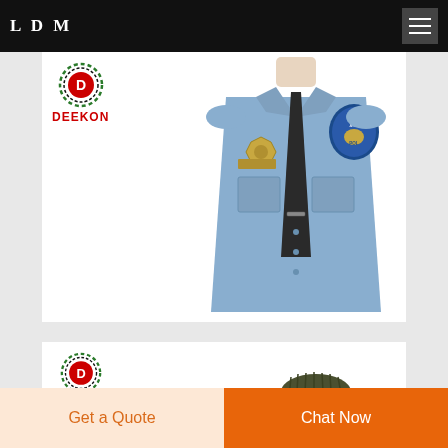LDM
[Figure (photo): Deekon logo with circular badge design and red DEEKON text, alongside a Chicago Police Department blue uniform shirt on a mannequin with dark tie, badge, and shoulder patch]
[Figure (photo): Deekon logo with circular badge design and red DEEKON text, alongside an olive/dark green ribbed sweater on a mannequin]
Get a Quote
Chat Now